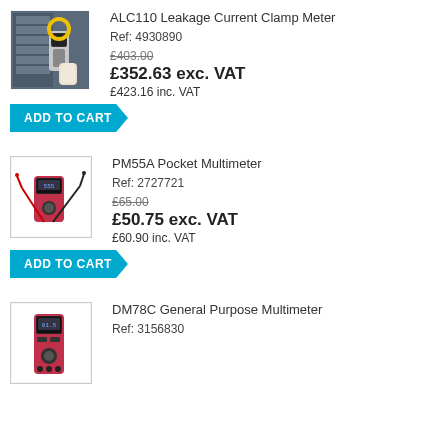[Figure (photo): ALC110 Leakage Current Clamp Meter product photo - clamp meter being used on electrical panel]
ALC110 Leakage Current Clamp Meter
Ref: 4930890
£403.00 (strikethrough)
£352.63 exc. VAT
£423.16 inc. VAT
ADD TO CART
[Figure (photo): PM55A Pocket Multimeter product photo - small red and black multimeter with test leads]
PM55A Pocket Multimeter
Ref: 2727721
£65.00 (strikethrough)
£50.75 exc. VAT
£60.90 inc. VAT
ADD TO CART
[Figure (photo): DM78C General Purpose Multimeter product photo - red and black handheld multimeter]
DM78C General Purpose Multimeter
Ref: 3156830